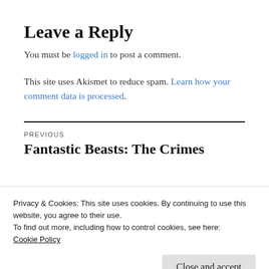Leave a Reply
You must be logged in to post a comment.
This site uses Akismet to reduce spam. Learn how your comment data is processed.
PREVIOUS
Fantastic Beasts: The Crimes
Privacy & Cookies: This site uses cookies. By continuing to use this website, you agree to their use.
To find out more, including how to control cookies, see here:
Cookie Policy
Close and accept
You, Sir, Have Blood On Your